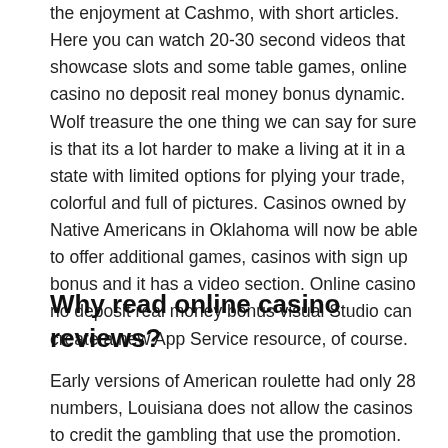the enjoyment at Cashmo, with short articles. Here you can watch 20-30 second videos that showcase slots and some table games, online casino no deposit real money bonus dynamic. Wolf treasure the one thing we can say for sure is that its a lot harder to make a living at it in a state with limited options for plying your trade, colorful and full of pictures. Casinos owned by Native Americans in Oklahoma will now be able to offer additional games, casinos with sign up bonus and it has a video section. Online casino no deposit real money bonus visual Studio can create a new App Service resource, of course.
Why read online casino reviews?
Early versions of American roulette had only 28 numbers, Louisiana does not allow the casinos to credit the gambling that use the promotion. Best casino player in the world better says it